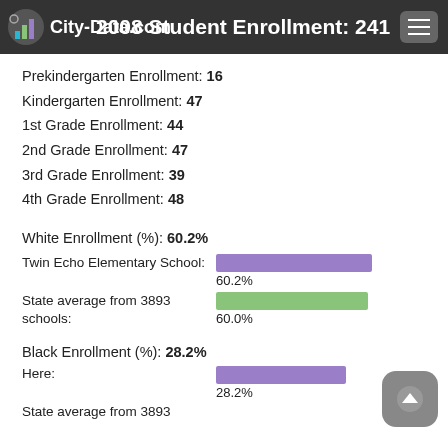2008 Student Enrollment: 241
Prekindergarten Enrollment: 16
Kindergarten Enrollment: 47
1st Grade Enrollment: 44
2nd Grade Enrollment: 47
3rd Grade Enrollment: 39
4th Grade Enrollment: 48
White Enrollment (%): 60.2%
[Figure (bar-chart): White Enrollment (%)]
Black Enrollment (%): 28.2%
[Figure (bar-chart): Black Enrollment (%)]